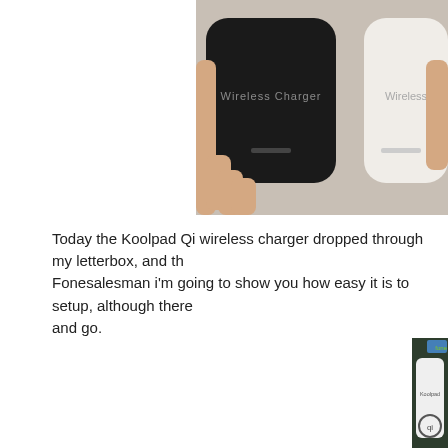[Figure (photo): Two wireless chargers held in hands — a black one on the left labeled 'Wireless Charger' and a white one on the right partially visible also labeled 'Wireless']
Today the Koolpad Qi wireless charger dropped through my letterbox, and th... Fonesalesman i'm going to show you how easy it is to setup, although there... and go.
[Figure (photo): Koolpad wireless charger product in retail packaging with Fonesalesman branding and BeginnersTech watermark overlay]